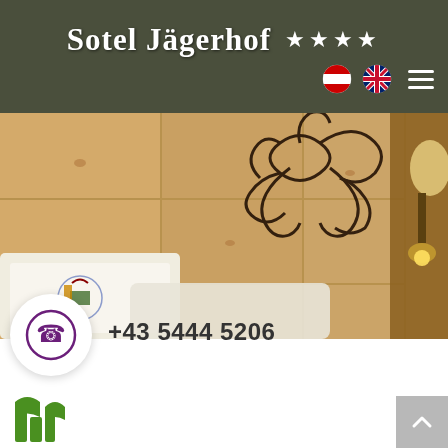Hotel Jägerhof ★★★★
[Figure (photo): Hotel room interior showing a wooden pine headboard with decorative dark scrollwork/floral pattern painted on it. White pillows with an embroidered hotel logo are visible in the foreground. A warm wall light is mounted on the right side.]
+43 5444 5206
[Figure (logo): Green hotel logo mark at bottom left, partially visible]